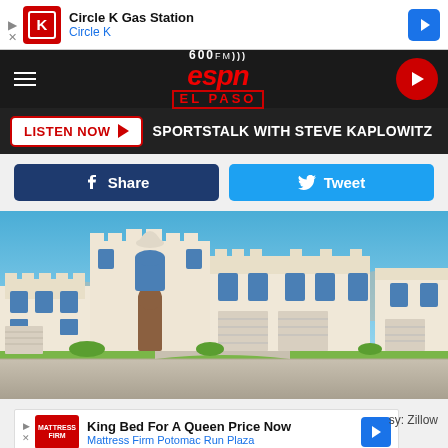[Figure (screenshot): Circle K Gas Station advertisement bar at top of page]
[Figure (logo): 600 AM ESPN El Paso radio station logo header with hamburger menu and play button]
LISTEN NOW ▶  SPORTSTALK WITH STEVE KAPLOWITZ
[Figure (screenshot): Facebook Share and Twitter Tweet buttons]
[Figure (photo): Large Mediterranean-style white stucco mansion with multiple stories, arched windows, and domed architectural elements against a blue sky]
[Figure (screenshot): Mattress Firm Potomac Run Plaza advertisement bar at bottom]
El Pas
sy: Zillow